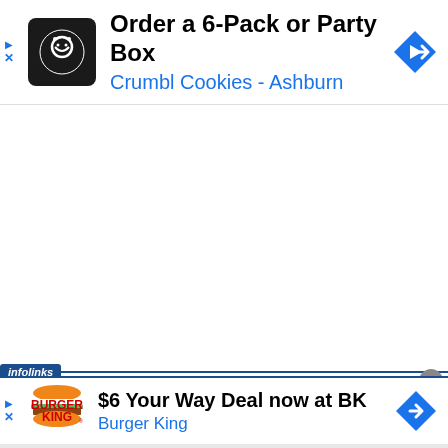[Figure (screenshot): Top advertisement banner for Crumbl Cookies with logo, text 'Order a 6-Pack or Party Box', subtext 'Crumbl Cookies - Ashburn', and a blue diamond navigation arrow icon]
[Figure (screenshot): Infolinks label bar with dark blue background and horizontal line]
[Figure (screenshot): Bottom advertisement banner for Burger King with logo, text '$6 Your Way Deal now at BK', subtext 'Burger King', and a blue diamond navigation arrow icon. Close X circle button at top-right.]